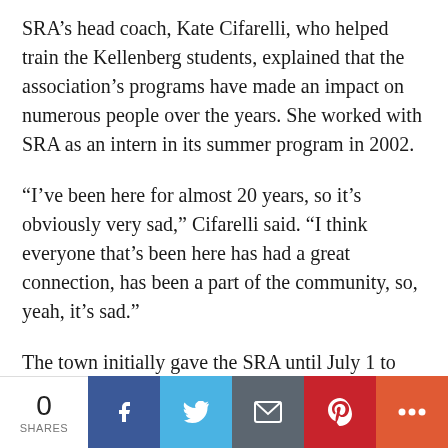SRA's head coach, Kate Cifarelli, who helped train the Kellenberg students, explained that the association's programs have made an impact on numerous people over the years. She worked with SRA as an intern in its summer program in 2002.
“I’ve been here for almost 20 years, so it’s obviously very sad,” Cifarelli said. “I think everyone that’s been here has had a great connection, has been a part of the community, so, yeah, it’s sad.”
The town initially gave the SRA until July 1 to move out, Doyle said, but after he explained that that was too little time to move 26 years of equipment, the date was pushed back to Aug. 28. Now, he says he’s struggling to find a new
0 SHARES | Facebook | Twitter | Email | Pinterest | More